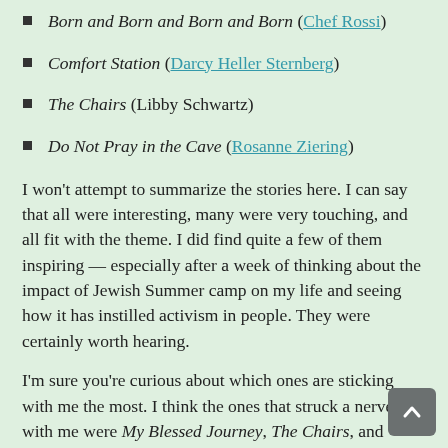Born and Born and Born and Born (Chef Rossi)
Comfort Station (Darcy Heller Sternberg)
The Chairs (Libby Schwartz)
Do Not Pray in the Cave (Rosanne Ziering)
I won't attempt to summarize the stories here. I can say that all were interesting, many were very touching, and all fit with the theme. I did find quite a few of them inspiring — especially after a week of thinking about the impact of Jewish Summer camp on my life and seeing how it has instilled activism in people. They were certainly worth hearing.
I'm sure you're curious about which ones are sticking with me the most. I think the ones that struck a nerve with me were My Blessed Journey, The Chairs, and Worthy of Love. Why did they stick? That's harder to say. What I think I can reliably say is that that at least one or two of